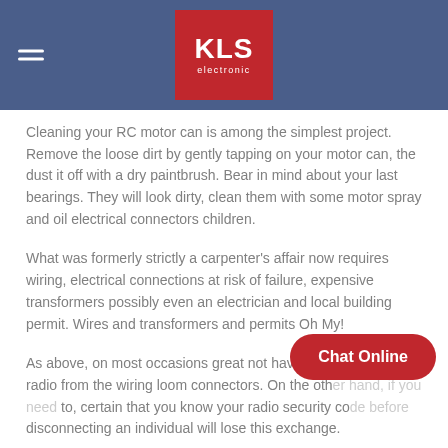[Figure (logo): KLS Electronic logo on red background with hamburger menu icon on blue header bar]
Cleaning your RC motor can is among the simplest project. Remove the loose dirt by gently tapping on your motor can, the dust it off with a dry paintbrush. Bear in mind about your last bearings. They will look dirty, clean them with some motor spray and oil electrical connectors children.
What was formerly strictly a carpenter's affair now requires wiring, electrical connections at risk of failure, expensive transformers possibly even an electrician and local building permit. Wires and transformers and permits Oh My!
As above, on most occasions great not have to disconnect your radio from the wiring loom connectors. On the oth... to, certain that you know your radio security co... disconnecting an individual will lose this exchange.